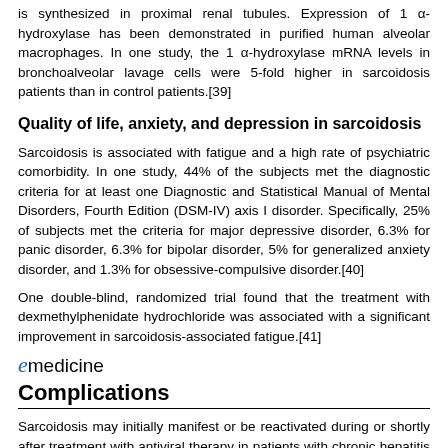is synthesized in proximal renal tubules. Expression of 1 α-hydroxylase has been demonstrated in purified human alveolar macrophages. In one study, the 1 α-hydroxylase mRNA levels in bronchoalveolar lavage cells were 5-fold higher in sarcoidosis patients than in control patients.[39]
Quality of life, anxiety, and depression in sarcoidosis
Sarcoidosis is associated with fatigue and a high rate of psychiatric comorbidity. In one study, 44% of the subjects met the diagnostic criteria for at least one Diagnostic and Statistical Manual of Mental Disorders, Fourth Edition (DSM-IV) axis I disorder. Specifically, 25% of subjects met the criteria for major depressive disorder, 6.3% for panic disorder, 6.3% for bipolar disorder, 5% for generalized anxiety disorder, and 1.3% for obsessive-compulsive disorder.[40]
One double-blind, randomized trial found that the treatment with dexmethylphenidate hydrochloride was associated with a significant improvement in sarcoidosis-associated fatigue.[41]
[Figure (logo): eMedicine logo with stylized italic e in blue followed by 'medicine' in black]
Complications
Sarcoidosis may initially manifest or be reactivated during or shortly after treatment with antiviral therapy in patients with chronic hepatitis C viral infection.[42]
[Figure (logo): eMedicine logo with stylized italic e in blue followed by 'medicine' in black]
PP